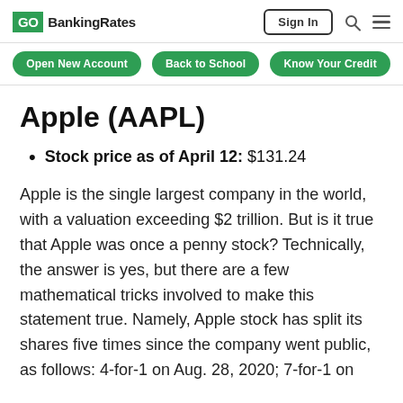GOBankingRates — Sign In
Open New Account   Back to School   Know Your Credit
Apple (AAPL)
Stock price as of April 12: $131.24
Apple is the single largest company in the world, with a valuation exceeding $2 trillion. But is it true that Apple was once a penny stock? Technically, the answer is yes, but there are a few mathematical tricks involved to make this statement true. Namely, Apple stock has split its shares five times since the company went public, as follows: 4-for-1 on Aug. 28, 2020; 7-for-1 on